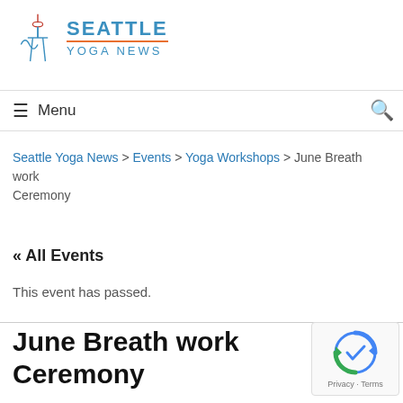[Figure (logo): Seattle Yoga News logo with Space Needle icon and blue text reading SEATTLE YOGA NEWS]
Menu
Seattle Yoga News > Events > Yoga Workshops > June Breath work Ceremony
« All Events
This event has passed.
June Breath work Ceremony
[Figure (other): reCAPTCHA widget showing Privacy - Terms]